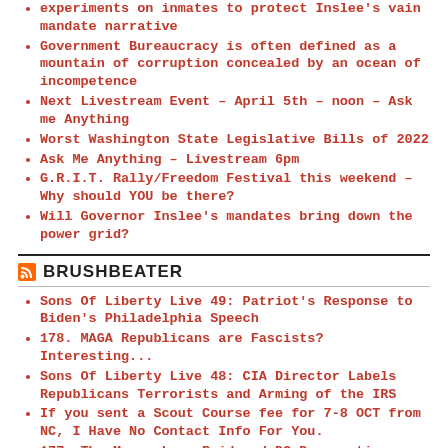experiments on inmates to protect Inslee's vain mandate narrative
Government Bureaucracy is often defined as a mountain of corruption concealed by an ocean of incompetence
Next Livestream Event – April 5th – noon – Ask me Anything
Worst Washington State Legislative Bills of 2022
Ask Me Anything – Livestream 6pm
G.R.I.T. Rally/Freedom Festival this weekend – Why should YOU be there?
Will Governor Inslee's mandates bring down the power grid?
BRUSHBEATER
Sons Of Liberty Live 49: Patriot's Response to Biden's Philadelphia Speech
178. MAGA Republicans are Fascists? Interesting...
Sons Of Liberty Live 48: CIA Director Labels Republicans Terrorists and Arming of the IRS
If you sent a Scout Course fee for 7-8 OCT from NC, I Have No Contact Info For You.
177. The Mar-a-Lago Raid and DC Desparation
Sons of Liberty 47: Taiwan, Mid Term Primaries, FBI